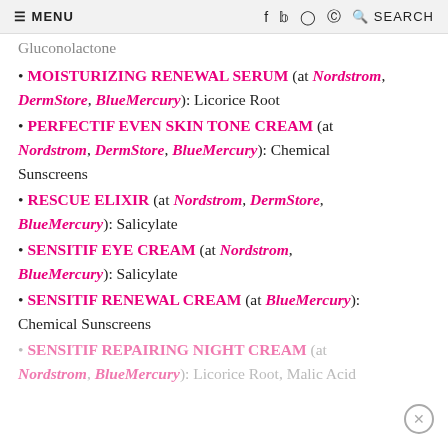≡ MENU   f   𝕥   𝕚   𝕡   🔍 SEARCH
Gluconolactone
MOISTURIZING RENEWAL SERUM (at Nordstrom, DermStore, BlueMercury): Licorice Root
PERFECTIF EVEN SKIN TONE CREAM (at Nordstrom, DermStore, BlueMercury): Chemical Sunscreens
RESCUE ELIXIR (at Nordstrom, DermStore, BlueMercury): Salicylate
SENSITIF EYE CREAM (at Nordstrom, BlueMercury): Salicylate
SENSITIF RENEWAL CREAM (at BlueMercury): Chemical Sunscreens
SENSITIF REPAIRING NIGHT CREAM (at Nordstrom, BlueMercury): Licorice Root, Malic Acid